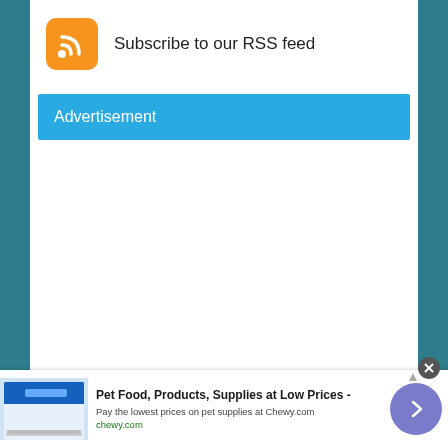[Figure (logo): Orange rounded square RSS feed icon with white signal waves]
Subscribe to our RSS feed
Advertisement
[Figure (infographic): Bottom advertisement banner for Chewy.com pet food and supplies. Shows a product image on the left, bold title 'Pet Food, Products, Supplies at Low Prices -', subtitle 'Pay the lowest prices on pet supplies at Chewy.com', green link 'chewy.com', navigation arrow button, close button and AdChoices icon.]